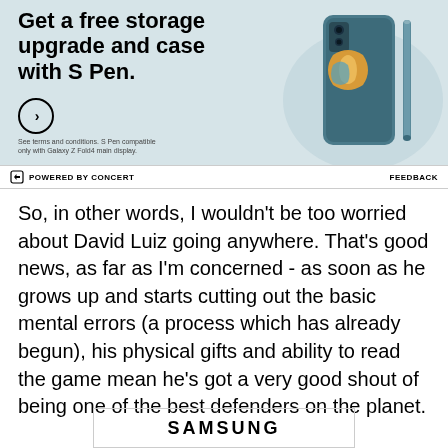[Figure (advertisement): Samsung Galaxy Z Fold4 advertisement banner with teal/blue background. Left side has bold text 'Get a free storage upgrade and case with S Pen.' with a circle arrow button. Fine print reads 'See terms and conditions. S Pen compatible only with Galaxy Z Fold4 main display.' Right side shows product image of phone with case and S Pen.]
POWERED BY CONCERT
FEEDBACK
So, in other words, I wouldn't be too worried about David Luiz going anywhere. That's good news, as far as I'm concerned - as soon as he grows up and starts cutting out the basic mental errors (a process which has already begun), his physical gifts and ability to read the game mean he's got a very good shout of being one of the best defenders on the planet.
[Figure (logo): Samsung logo in bold black uppercase letters inside a rectangular border]